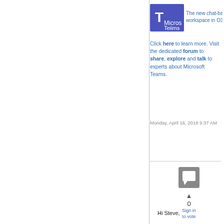[Figure (logo): Microsoft Teams logo banner with text 'Microsoft Teams' and tagline 'The new chat-based workspace in O365']
Click here to learn more. Visit the dedicated forum to share, explore and talk to experts about Microsoft Teams.
Monday, April 16, 2018 9:37 AM
[Figure (illustration): Grey comment/reply icon square button]
▲
0
Sign in to vote
Hi Steve,